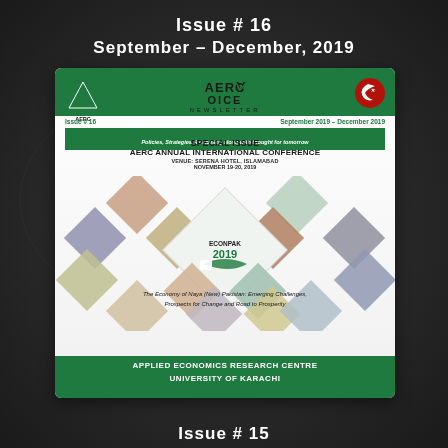Issue # 16
September – December, 2019
[Figure (infographic): AERC Voice Newsletter cover page Issue #16, September 2019 - December 2019. Features AERC Annual International Conference at Serena Hotel Islamabad, November 19-20 2019. Diamond-shaped photo grid of conference speakers and participants. Theme: The Economy of Naya (New) Pakistan: Emerging Challenges, Prospects for Change and Road to Prosperity. Applied Economics Research Centre, University of Karachi.]
Issue # 15